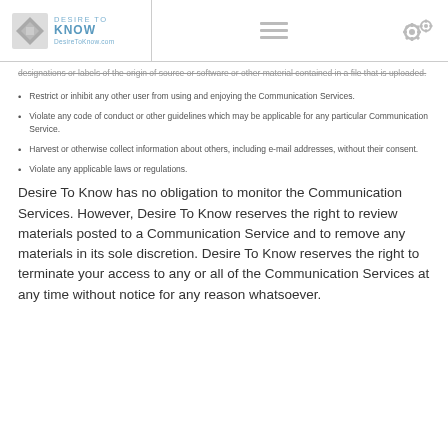DESIRE TO KNOW — DesireToKnow.com
designations or labels of the origin of source or software or other material contained in a file that is uploaded.
Restrict or inhibit any other user from using and enjoying the Communication Services.
Violate any code of conduct or other guidelines which may be applicable for any particular Communication Service.
Harvest or otherwise collect information about others, including e-mail addresses, without their consent.
Violate any applicable laws or regulations.
Desire To Know has no obligation to monitor the Communication Services. However, Desire To Know reserves the right to review materials posted to a Communication Service and to remove any materials in its sole discretion. Desire To Know reserves the right to terminate your access to any or all of the Communication Services at any time without notice for any reason whatsoever.